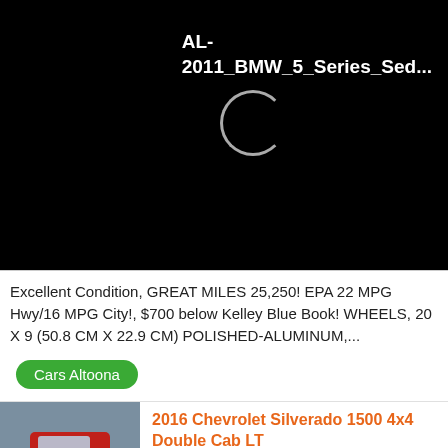[Figure (screenshot): Black header area with a loading spinner circle and text 'AL-2011_BMW_5_Series_Sed...' in white on black background]
Excellent Condition, GREAT MILES 25,250! EPA 22 MPG Hwy/16 MPG City!, $700 below Kelley Blue Book! WHEELS, 20 X 9 (50.8 CM X 22.9 CM) POLISHED-ALUMINUM,...
Cars Altoona
[Figure (photo): Red Chevrolet Silverado truck photographed from front-left angle in a parking lot]
2016 Chevrolet Silverado 1500 4x4 Double Cab LT
Altoona, PA
20 000 - 24 999 Miles | 2016 Year
Excellent Condition, GREAT MILES 20,082! FUEL EFFICIENT 22 MPG Hwy/16 MPG City! Tow Hitch, Bed Liner, TRAILERING PACKAGE, WHEELS, 18 X 8.5 (45.7 CM X 21.6...
Cars Altoona